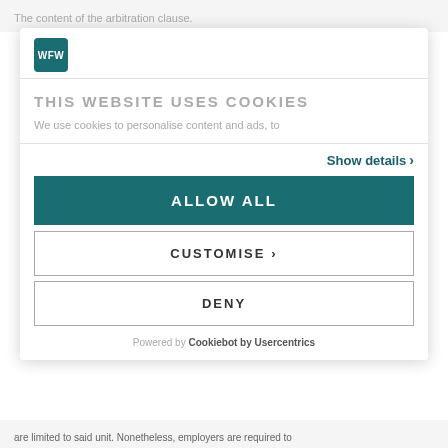The content of the arbitration clause.
[Figure (logo): WFW logo — teal square with white 'WFW' text]
THIS WEBSITE USES COOKIES
We use cookies to personalise content and ads, to
Show details >
ALLOW ALL
CUSTOMISE >
DENY
Powered by Cookiebot by Usercentrics
are limited to said unit. Nonetheless, employers are required to